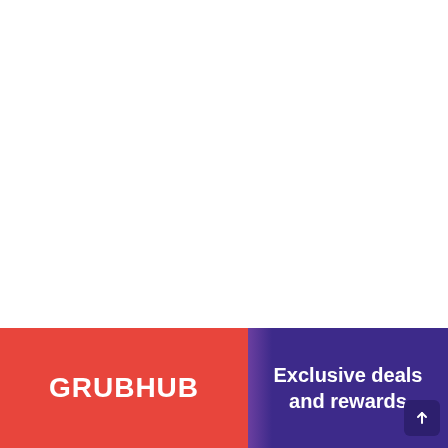[Figure (logo): Grubhub logo on red/coral background panel at bottom left]
Exclusive deals and rewards